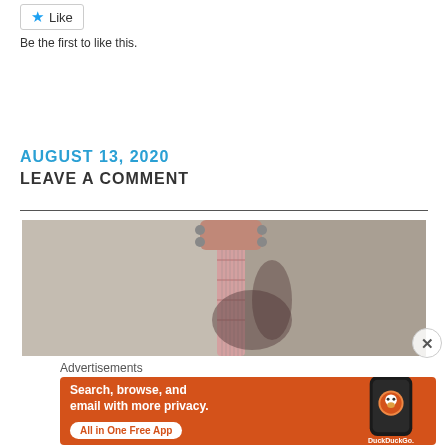[Figure (other): Like button with blue star icon]
Be the first to like this.
AUGUST 13, 2020
LEAVE A COMMENT
[Figure (photo): Close-up photo of a person holding a guitar headstock/neck, blurred background]
Advertisements
[Figure (other): DuckDuckGo advertisement banner: Search, browse, and email with more privacy. All in One Free App. Shows DuckDuckGo logo and phone mockup.]